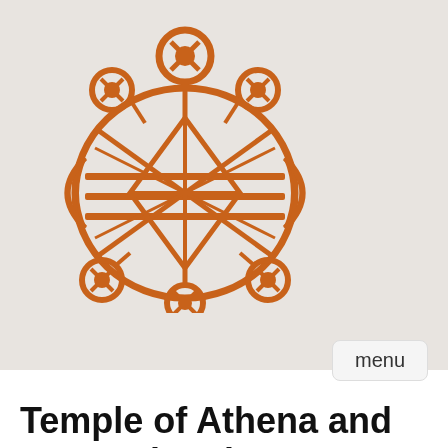[Figure (logo): Decorative orange geometric/tribal logo with circular patterns and stylized figure]
menu
Temple of Athena and Troy VI bastion
Submitted by Iza on Tue, 04/14/2020 - 11:31. Last modification: Sun, 05/31/2020 - 17:32
[Figure (map): Map of Turkey showing Istanbul, Tekirdag, Sakarya, Bursa, Ankara, Samsun, Ordu, Trabzon, Erzurum, Corum, Sivas, Kutahya, Balikesir with a star marker on the western coast near Balikesir]